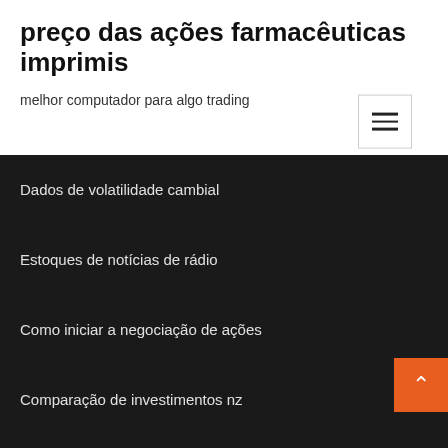preço das ações farmacêuticas imprimis
melhor computador para algo trading
Dados de volatilidade cambial
Estoques de notícias de rádio
Como iniciar a negociação de ações
Comparação de investimentos nz
Xtb frança de negociação on-line
Simulador de comerciante de ações grátis
Melhor indústria para investir na Índia
Quais são os requisitos para se tornar um negociador de ações
Gráfico de preços de petróleo brent moneycontrol